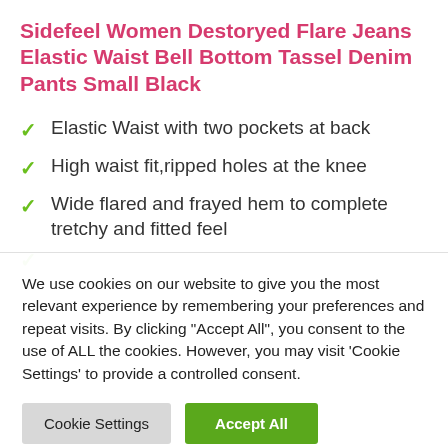Sidefeel Women Destoryed Flare Jeans Elastic Waist Bell Bottom Tassel Denim Pants Small Black
Elastic Waist with two pockets at back
High waist fit,ripped holes at the knee
Wide flared and frayed hem to complete tretchy and fitted feel
We use cookies on our website to give you the most relevant experience by remembering your preferences and repeat visits. By clicking "Accept All", you consent to the use of ALL the cookies. However, you may visit 'Cookie Settings' to provide a controlled consent.
Cookie Settings | Accept All